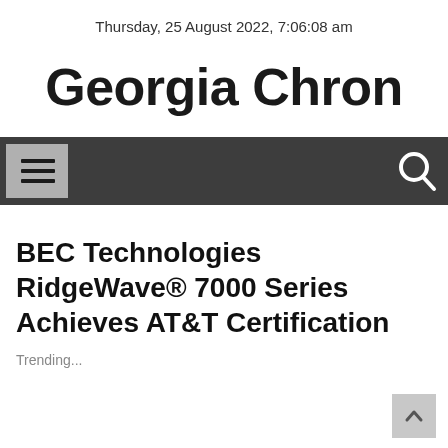Thursday, 25 August 2022, 7:06:08 am
Georgia Chron
[Figure (other): Navigation bar with hamburger menu icon on left and search icon on right, dark gray background]
BEC Technologies RidgeWave® 7000 Series Achieves AT&T Certification
Trending...